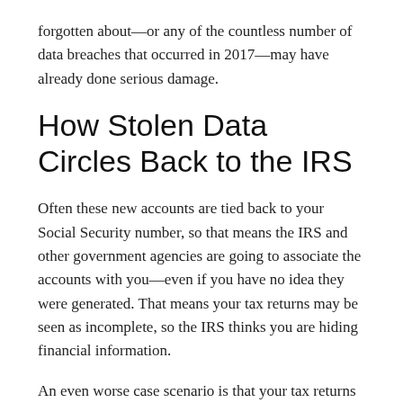forgotten about—or any of the countless number of data breaches that occurred in 2017—may have already done serious damage.
How Stolen Data Circles Back to the IRS
Often these new accounts are tied back to your Social Security number, so that means the IRS and other government agencies are going to associate the accounts with you—even if you have no idea they were generated. That means your tax returns may be seen as incomplete, so the IRS thinks you are hiding financial information.
An even worse case scenario is that your tax returns have already been filed by a hacker and they have made a claim to your refund. This flags your actual tax filing